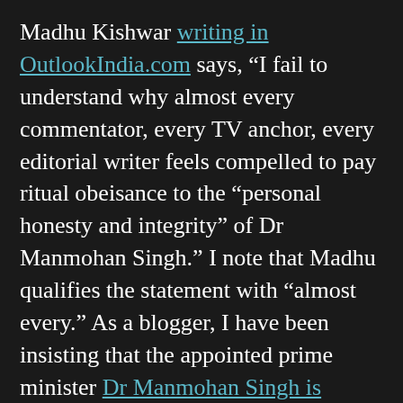Madhu Kishwar writing in OutlookIndia.com says, “I fail to understand why almost every commentator, every TV anchor, every editorial writer feels compelled to pay ritual obeisance to the “personal honesty and integrity” of Dr Manmohan Singh.” I note that Madhu qualifies the statement with “almost every.” As a blogger, I have been insisting that the appointed prime minister Dr Manmohan Singh is despicably dishonest man, and that he will be remembered for his venality. That he is getting a free pass right now can only be because Indians are not the most clued in people in the world and it takes a few generations for the truth to dawn on the